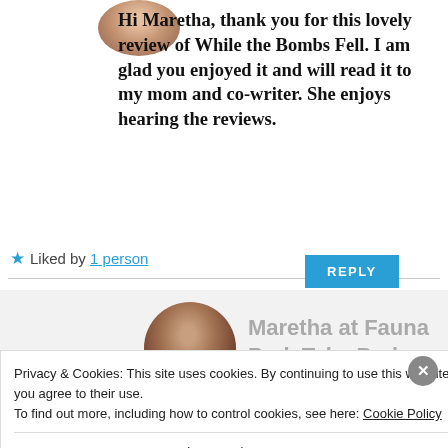[Figure (photo): Circular avatar photo of a woman with light hair, partially visible at top]
Hi Maretha, thank you for this lovely review of While the Bombs Fell. I am glad you enjoyed it and will read it to my mom and co-writer. She enjoys hearing the reviews.
★ Liked by 1 person
REPLY
[Figure (photo): Circular avatar photo of a woman with dark hair and glasses]
Maretha at Fauna Park Tales
Privacy & Cookies: This site uses cookies. By continuing to use this website, you agree to their use.
To find out more, including how to control cookies, see here: Cookie Policy
Close and accept